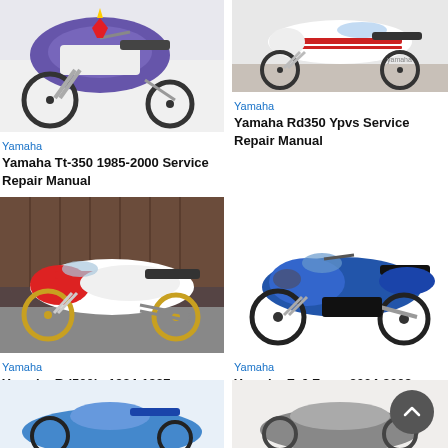[Figure (photo): Yamaha TT-350 dirt bike, white and purple/blue color scheme, off-road motorcycle]
Yamaha
Yamaha Tt-350 1985-2000 Service Repair Manual
[Figure (photo): Yamaha RD350 YPVS sport motorcycle, white with red accents]
Yamaha
Yamaha Rd350 Ypvs Service Repair Manual
[Figure (photo): Yamaha RD500LC sport motorcycle, white and red, gold wheels]
Yamaha
Yamaha Rd500lc 1984-1987 Service Repair Manual
[Figure (photo): Yamaha FZ6 Fazer sport motorcycle, blue and black]
Yamaha
Yamaha Fz6 Fazer 2004-2008 Service Repair Manual
[Figure (photo): Partial view of blue motorcycle at bottom left]
[Figure (photo): Partial view of motorcycle at bottom right]